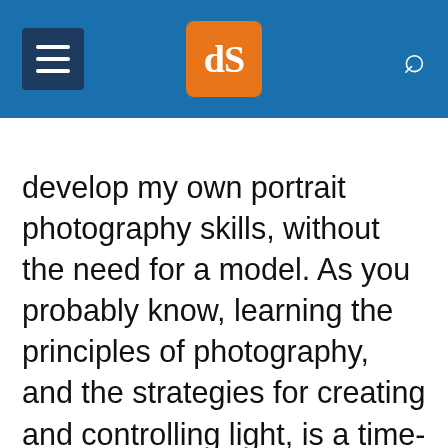dPS (digital photography school header with menu and search icons)
develop my own portrait photography skills, without the need for a model. As you probably know, learning the principles of photography, and the strategies for creating and controlling light, is a time-consuming process. It involves a great deal of trial and error, and asking a model to pose patiently while you make mistake after mistake isn't always ideal. But you, yourself, are an infinitely more willing subject. Hours pass, memory cards fill with lackluster images, yet yo